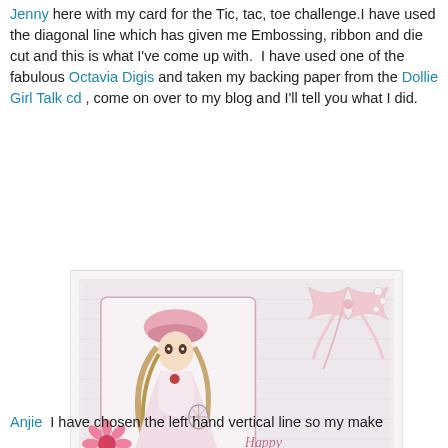Jenny here with my card for the Tic, tac, toe challenge.I have used the diagonal line which has given me Embossing, ribbon and die cut and this is what I've come up with.  I have used one of the fabulous Octavia Digis and taken my backing paper from the Dollie Girl Talk cd , come on over to my blog and I'll tell you what I did.
[Figure (photo): A handmade birthday card with embossed white background, featuring a cute anime-style girl with a pink hat and flowing dress holding a birdcage, pink ribbon bow in upper right, pink daisy flower embellishment at bottom left, and 'Happy Birthday' text in pink script.]
Anjie  I have chosen the left hand vertical line so my make